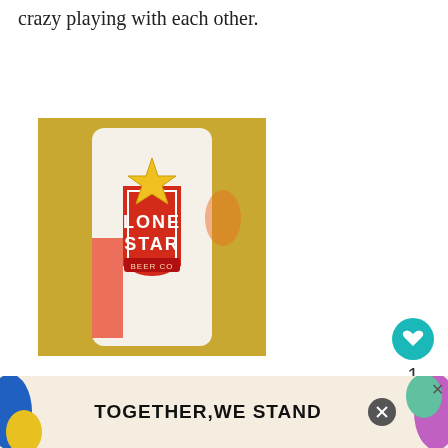crazy playing with each other.
[Figure (photo): Close-up photo of a Lone Star beer cup/can with red shield logo and gold star, sitting on a glittery gold surface.]
[Figure (infographic): Heart/like button (teal circle with heart icon), like count '1', and share button (grey circle with share icon) on the right side.]
{SUNDAY}
[Figure (infographic): WHAT'S NEXT banner with thumbnail image and text 'BBQ Chip Shake and...']
Natalie and Jason
[Figure (infographic): Advertisement banner at the bottom reading 'TOGETHER, WE STAND' with colorful shapes and close buttons.]